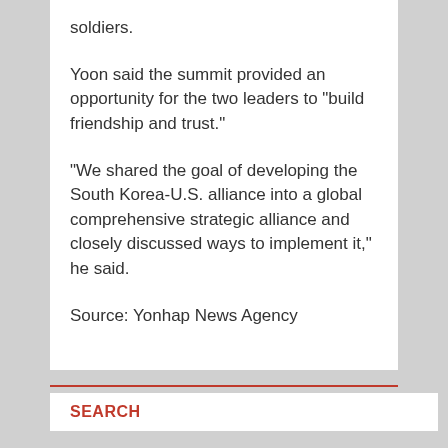soldiers.
Yoon said the summit provided an opportunity for the two leaders to "build friendship and trust."
"We shared the goal of developing the South Korea-U.S. alliance into a global comprehensive strategic alliance and closely discussed ways to implement it," he said.
Source: Yonhap News Agency
SEARCH